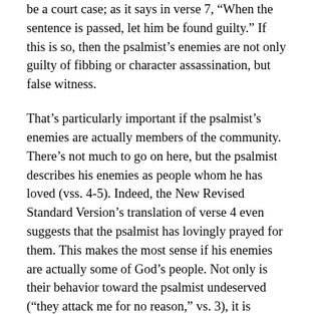be a court case; as it says in verse 7, “When the sentence is passed, let him be found guilty.” If this is so, then the psalmist’s enemies are not only guilty of fibbing or character assassination, but false witness.
That’s particularly important if the psalmist’s enemies are actually members of the community. There’s not much to go on here, but the psalmist describes his enemies as people whom he has loved (vss. 4-5). Indeed, the New Revised Standard Version’s translation of verse 4 even suggests that the psalmist has lovingly prayed for them. This makes the most sense if his enemies are actually some of God’s people. Not only is their behavior toward the psalmist undeserved (“they attack me for no reason,” vs. 3), it is deeply unjust (“They repay me evil for good, hatred in return for my love,” vs. 5), and not the way God’s people should treat one another.
Moreover, the enemy is described as one who “didn’t